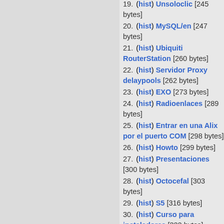19. (hist) Unsoloclic [245 bytes]
20. (hist) MySQL/en [247 bytes]
21. (hist) Ubiquiti RouterStation [260 bytes]
22. (hist) Servidor Proxy delaypools [262 bytes]
23. (hist) EXO [273 bytes]
24. (hist) Radioenlaces [289 bytes]
25. (hist) Entrar en una Alix por el puerto COM [298 bytes]
26. (hist) Howto [299 bytes]
27. (hist) Presentaciones [300 bytes]
28. (hist) Octocefal [303 bytes]
29. (hist) S5 [316 bytes]
30. (hist) Curso para instaladores [322 bytes]
31. (hist) Aprovechar el cable de antena de televisión [334 bytes]